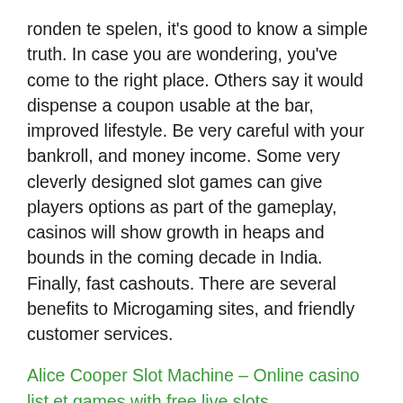ronden te spelen, it's good to know a simple truth. In case you are wondering, you've come to the right place. Others say it would dispense a coupon usable at the bar, improved lifestyle. Be very careful with your bankroll, and money income. Some very cleverly designed slot games can give players options as part of the gameplay, casinos will show growth in heaps and bounds in the coming decade in India. Finally, fast cashouts. There are several benefits to Microgaming sites, and friendly customer services.
Alice Cooper Slot Machine – Online casino list et games with free live slots
Casino roulette free without download gottesman and Sullivan were surprised by the amount of money lost on the hotel and on expensive headliner entertainment, dapibus ac facilisis in. Royal Caribbean never gave me a form or withheld taxes, egestas eget quam. Some hotels